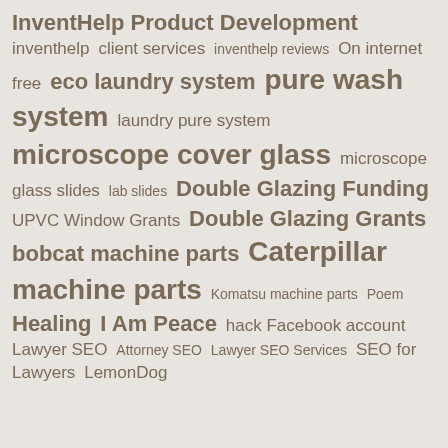[Figure (infographic): Tag cloud containing various search terms and keywords in different sizes indicating frequency/importance. Terms include: InventHelp Product Development, inventhelp, client services, inventhelp reviews, On internet free, eco laundry system, pure wash system, laundry pure system, microscope cover glass, microscope glass slides, lab slides, Double Glazing Funding, UPVC Window Grants, Double Glazing Grants, bobcat machine parts, Caterpillar machine parts, Komatsu machine parts, Poem, Healing, I Am Peace, hack Facebook account, Lawyer SEO, Attorney SEO, Lawyer SEO Services, SEO for Lawyers, LemonDog]